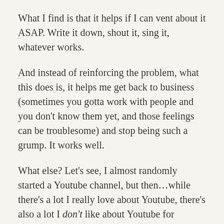What I find is that it helps if I can vent about it ASAP. Write it down, shout it, sing it, whatever works.
And instead of reinforcing the problem, what this does is, it helps me get back to business (sometimes you gotta work with people and you don't know them yet, and those feelings can be troublesome) and stop being such a grump. It works well.
What else? Let's see, I almost randomly started a Youtube channel, but then…while there's a lot I really love about Youtube, there's also a lot I don't like about Youtube for creators, so I started to look around. Do you guys have any alternative video sharing platforms you like? Content type would be: Randomness, but maybe fun or informational randomness. Or